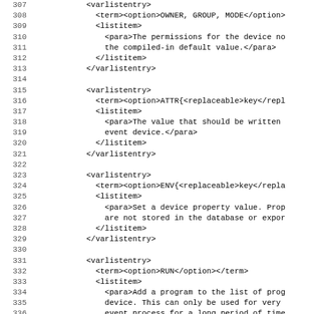307    <varlistentry>
308      <term><option>OWNER, GROUP, MODE</option>
309      <listitem>
310        <para>The permissions for the device no
311        the compiled-in default value.</para>
312      </listitem>
313    </varlistentry>
314
315    <varlistentry>
316      <term><option>ATTR{<replaceable>key</repl
317      <listitem>
318        <para>The value that should be written
319        event device.</para>
320      </listitem>
321    </varlistentry>
322
323    <varlistentry>
324      <term><option>ENV{<replaceable>key</repla
325      <listitem>
326        <para>Set a device property value. Prop
327        are not stored in the database or expor
328      </listitem>
329    </varlistentry>
330
331    <varlistentry>
332      <term><option>RUN</option></term>
333      <listitem>
334        <para>Add a program to the list of prog
335        device. This can only be used for very
336        event process for a long period of time
337        this or a dependent device. Long runnin
338        detached from the event process itself